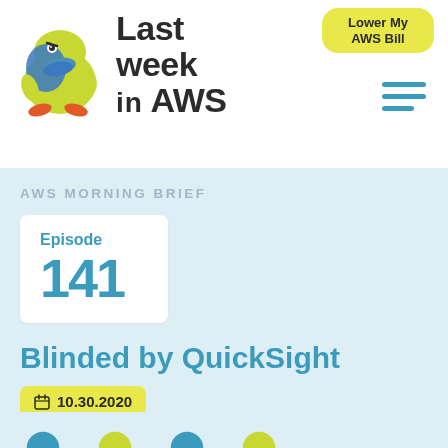[Figure (logo): Last Week in AWS logo with platypus mascot illustration and bold text reading 'Last week in AWS']
Lower My AWS Bill
[Figure (illustration): Hamburger menu icon with three horizontal teal lines]
AWS MORNING BRIEF
Episode 141
Blinded by QuickSight
10.30.2020